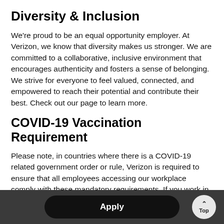Diversity & Inclusion
We're proud to be an equal opportunity employer. At Verizon, we know that diversity makes us stronger. We are committed to a collaborative, inclusive environment that encourages authenticity and fosters a sense of belonging. We strive for everyone to feel valued, connected, and empowered to reach their potential and contribute their best. Check out our page to learn more.
COVID-19 Vaccination Requirement
Please note, in countries where there is a COVID-19 related government order or rule, Verizon is required to ensure that all employees accessing our workplace comply with these mandatory requirements. If you work in one of these locations, you will be required to provide us with your vaccination status prior to joining. If this, or any other COVID related requirement applies in your location, we will notify you about this before you start work.